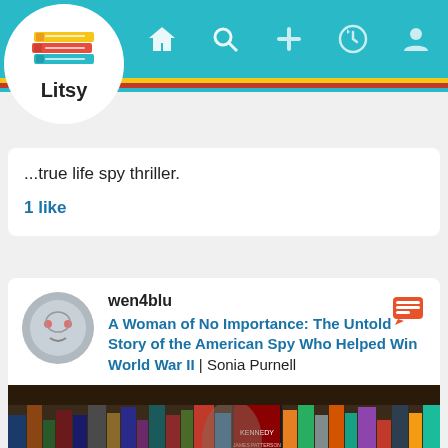[Figure (screenshot): Litsy app logo with stacked colorful books and text 'Litsy' in a white circle]
[Figure (screenshot): Litsy app navigation bar with home, search, add, activity, and profile icons on teal background with yellow, red, blue stripes below]
...true life spy thriller.
1 like
wen4blu
A Woman of No Importance: The Untold Story of the American Spy Who Helped Win World War II | Sonia Purnell
[Figure (photo): Photo of bookshelf with many books and a book cover visible at bottom reading 'NEW YORK TIMES BESTSELLER A WOMAN of NO']